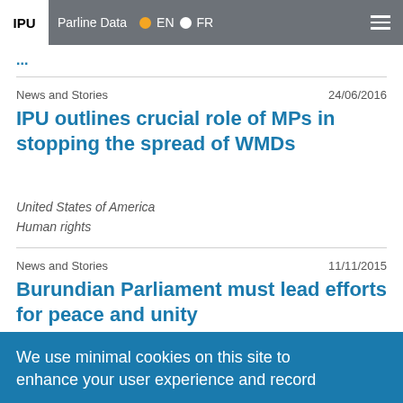IPU | Parline Data | EN | FR
... something (partially visible)
News and Stories    24/06/2016
IPU outlines crucial role of MPs in stopping the spread of WMDs
United States of America
Human rights
News and Stories    11/11/2015
Burundian Parliament must lead efforts for peace and unity
Burundi
Peacebuilding
We use minimal cookies on this site to enhance your user experience and record